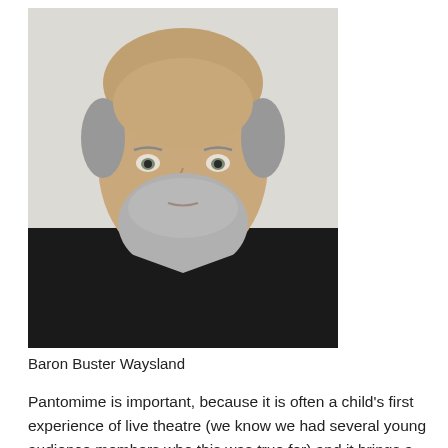[Figure (photo): A man with a grey beard and balding head wearing a black costume with gold trim, standing against a white wall. He appears to be in costume as Baron Buster Waysland.]
Baron Buster Waysland
Pantomime is important, because it is often a child's first experience of live theatre (we know we had several young audience members who this was true for) and it brings a real sense of community. Performing in village halls leant a